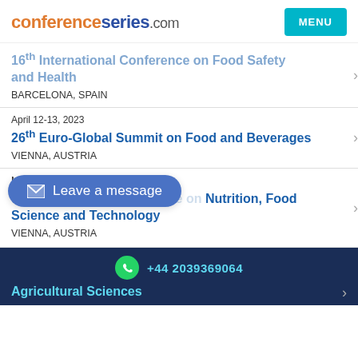conferenceseries.com | MENU
16th International Conference on Food Safety and Health
BARCELONA, SPAIN
April 12-13, 2023
26th Euro-Global Summit on Food and Beverages
VIENNA, AUSTRIA
May 1...
6th International Conference on Nutrition, Food Science and Technology
VIENNA, AUSTRIA
[Figure (other): Leave a message button overlay]
+44 2039369064
Agricultural Sciences